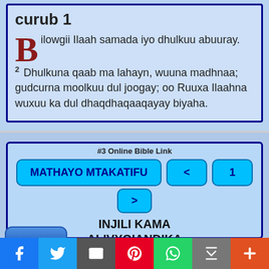curub 1
Bilowgii Ilaah samada iyo dhulkuu abuuray. 2 Dhulkuna qaab ma lahayn, wuuna madhnaa; gudcurna moolkuu dul joogay; oo Ruuxa Ilaahna wuxuu ka dul dhaqdhaqaaqayay biyaha.
#3 Online Bible Link
MATHAYO MTAKATIFU
< 1 >
INJILI KAMA ALIVYOIANDIKA
MENU